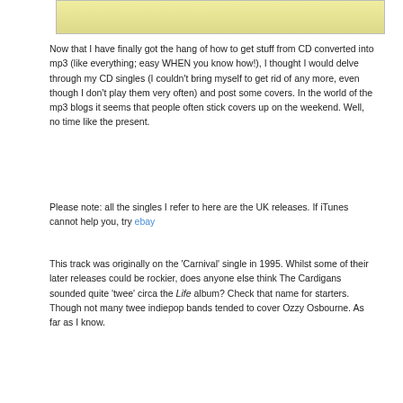[Figure (photo): Partial view of a CD single cover with a yellowish/cream colored background]
Now that I have finally got the hang of how to get stuff from CD converted into mp3 (like everything; easy WHEN you know how!), I thought I would delve through my CD singles (I couldn't bring myself to get rid of any more, even though I don't play them very often) and post some covers. In the world of the mp3 blogs it seems that people often stick covers up on the weekend. Well, no time like the present.
Please note: all the singles I refer to here are the UK releases. If iTunes cannot help you, try ebay
This track was originally on the 'Carnival' single in 1995. Whilst some of their later releases could be rockier, does anyone else think The Cardigans sounded quite 'twee' circa the Life album? Check that name for starters. Though not many twee indiepop bands tended to cover Ozzy Osbourne. As far as I know.